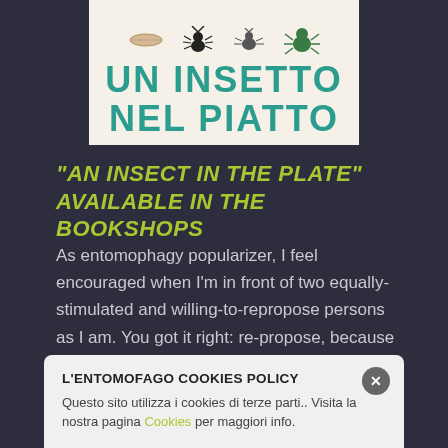[Figure (illustration): Book cover of 'Un Insetto nel Piatto' (An Insect in the Plate) showing insect illustrations (larva, ant, termite, spider) on a beige background with large teal text.]
"AN INSECT IN THE PLATE" AVAILABLE IN THE BOOKSHOPS
As entomophagy popularizer, I feel encouraged when I'm in front of two equally-stimulated and willing-to-repropose persons as I am. You got it right: re-propose, because human entomophagy it's just forgotten, but
L'ENTOMOFAGO COOKIES POLICY
Questo sito utilizza i cookies di terze parti.. Visita la nostra pagina Cookies per maggiori info.